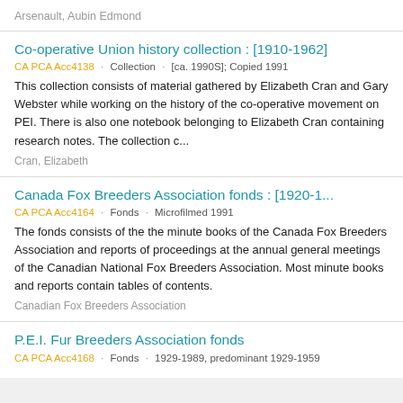Arsenault, Aubin Edmond
Co-operative Union history collection : [1910-1962]
CA PCA Acc4138 · Collection · [ca. 1990S]; Copied 1991
This collection consists of material gathered by Elizabeth Cran and Gary Webster while working on the history of the co-operative movement on PEI. There is also one notebook belonging to Elizabeth Cran containing research notes. The collection c...
Cran, Elizabeth
Canada Fox Breeders Association fonds : [1920-1...
CA PCA Acc4164 · Fonds · Microfilmed 1991
The fonds consists of the the minute books of the Canada Fox Breeders Association and reports of proceedings at the annual general meetings of the Canadian National Fox Breeders Association. Most minute books and reports contain tables of contents.
Canadian Fox Breeders Association
P.E.I. Fur Breeders Association fonds
CA PCA Acc4168 · Fonds · 1929-1989, predominant 1929-1959